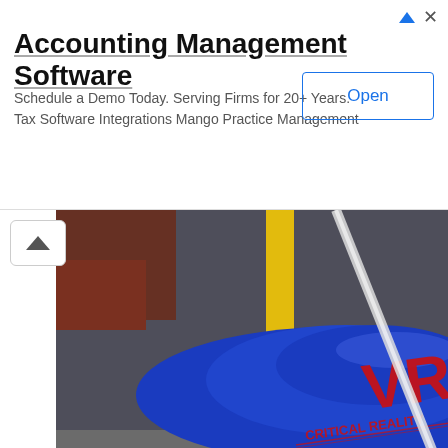[Figure (other): Advertisement banner for Accounting Management Software by Mango Practice Management. Shows title, description text, and an Open button.]
[Figure (photo): Close-up photo of a blue inflatable buoy or equipment marked 'VR Critical Reality' with yellow poles on a grey surface. Watermark: © Sanbee]
[Figure (photo): Photo looking up at yacht mast rigging against a cloudy sky, with grey metal poles, yellow wrapped fittings, and wire cables.]